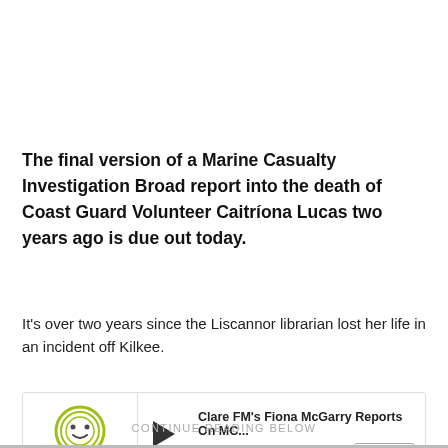The final version of a Marine Casualty Investigation Broad report into the death of Coast Guard Volunteer Caitríona Lucas two years ago is due out today.
It's over two years since the Liscannor librarian lost her life in an incident off Kilkee.
[Figure (other): Clare FM audio widget with logo, play button, and track info: 'Clare FM's Fiona McGarry Reports On MC...' by Clare FM - News & Sport with FOLLOW button]
CONTINUE READING BELOW